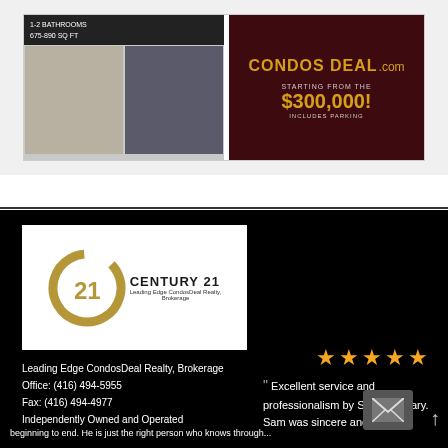[Figure (infographic): Real estate advertisement banner for CondosDeal.com showing property photos on left, dark red panel on right with 'CONDOS DEAL .com' logo and 'STARTING FROM THE $300,000! INCLUDES PARKING' text]
[Figure (logo): Century 21 Leading Edge CondosDeal Realty, Brokerage logo — golden C arc with 21 inside, company name text]
Leading Edge CondosDeal Realty, Brokerage
Office: (416) 494-5955
Fax: (416) 494-4977
Independently Owned and Operated
[Figure (infographic): Five orange/gold star rating icons]
Excellent service and professionalism by Sam Elgohary. Sam was sincere and he beginning to end. He is just the right person who knows through...